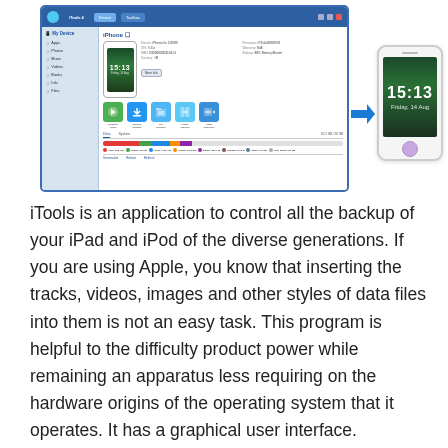[Figure (screenshot): iTools application screenshot showing the main interface with device management sidebar, iPhone device info panel, and app icons for Ringtone Maker, Backup Restore, File Explorer, Phone Transfer, Video Converter. Also shows a smartphone mockup with time 15:13 and date Friday 14 Aug, with a blue arrow pointing left between the app window and the phone.]
iTools is an application to control all the backup of your iPad and iPod of the diverse generations. If you are using Apple, you know that inserting the tracks, videos, images and other styles of data files into them is not an easy task. This program is helpful to the difficulty product power while remaining an apparatus less requiring on the hardware origins of the operating system that it operates. It has a graphical user interface.